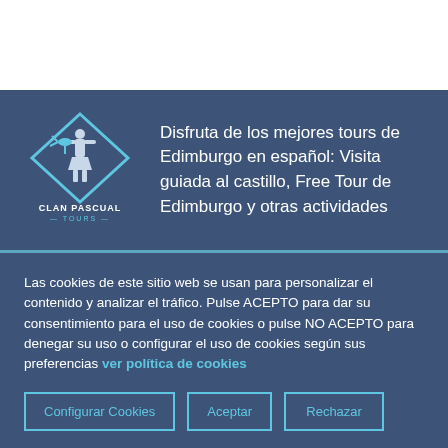[Figure (logo): Clan Pascual Tours logo — diamond shape with figure playing bagpipes inside, text CLAN PASCUAL TOURS below]
Disfruta de los mejores tours de Edimburgo en español: Visita guiada al castillo, Free Tour de Edimburgo y otras actividades
Las cookies de este sitio web se usan para personalizar el contenido y analizar el tráfico. Pulse ACEPTO para dar su consentimiento para el uso de cookies o pulse NO ACEPTO para denegar su uso o configurar el uso de cookies según sus preferencias ver política de cookies
Configurar Cookies | Aceptar | Rechazar